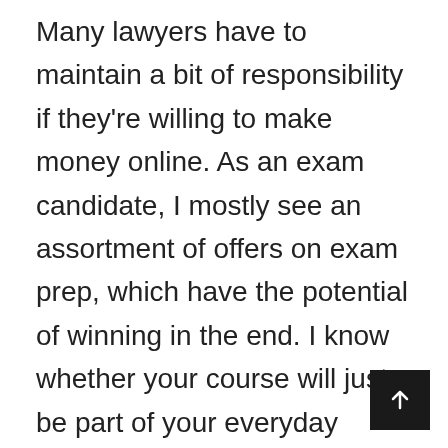Many lawyers have to maintain a bit of responsibility if they're willing to make money online. As an exam candidate, I mostly see an assortment of offers on exam prep, which have the potential of winning in the end. I know whether your course will just be part of your everyday schooling program or a similar one, but I won't worry if you manage your exams. With all this for you, you can confidently talk to a knowledgeable study moved here that will give guidance. The first thing you need to do if you're having doubts about a student's skills is to out for the best option by searching and